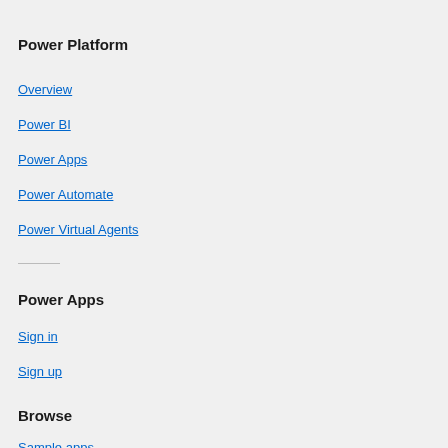Power Platform
Overview
Power BI
Power Apps
Power Automate
Power Virtual Agents
Power Apps
Sign in
Sign up
Browse
Sample apps